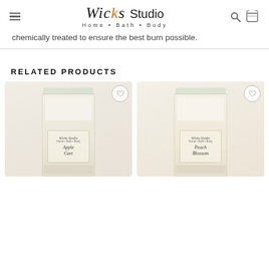Wicks Studio Home • Bath • Body
chemically treated to ensure the best burn possible.
RELATED PRODUCTS
[Figure (photo): Two candles in glass jars with labels reading 'Apple Cart' and 'Peach Blossom' from Wicks Studio, shown as related products on an e-commerce page]
Apple Cart / Peach Blossom